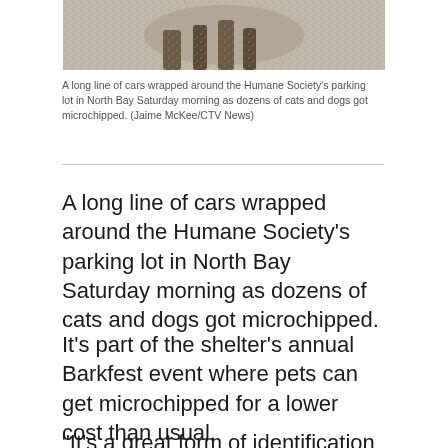[Figure (photo): Partial photo of an animal (cat or dog) on pavement, cropped at top of page]
A long line of cars wrapped around the Humane Society's parking lot in North Bay Saturday morning as dozens of cats and dogs got microchipped. (Jaime McKee/CTV News)
A long line of cars wrapped around the Humane Society's parking lot in North Bay Saturday morning as dozens of cats and dogs got microchipped.
It's part of the shelter's annual Barkfest event where pets can get microchipped for a lower cost than usual.
"It's a great form of identification because it's